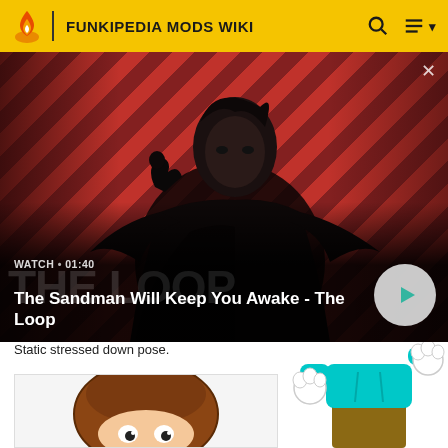FUNKIPEDIA MODS WIKI
[Figure (screenshot): Video banner thumbnail showing a dark-clad figure (Sandman) with a raven on shoulder against a red diagonal stripe background. Shows 'WATCH • 01:40' and title 'The Sandman Will Keep You Awake - The Loop' with a play button.]
Static stressed down pose.
[Figure (illustration): Cartoon character head (brown hair, viewed from above/back) — Friday Night Funkin style illustration.]
[Figure (illustration): Cartoon character in cyan shirt and brown pants with white gloves — Friday Night Funkin style illustration, Boyfriend character.]